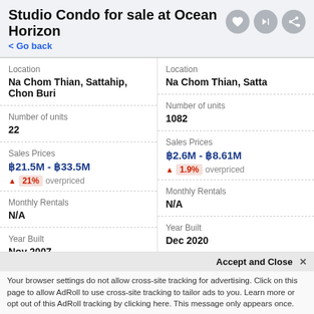Studio Condo for sale at Ocean Horizon
< Go back
| Field | Column 1 | Column 2 |
| --- | --- | --- |
| Location | Na Chom Thian, Sattahip, Chon Buri | Na Chom Thian, Satta |
| Number of units | 22 | 1082 |
| Sales Prices | ฿21.5M - ฿33.5M | ฿2.6M - ฿8.61M |
| Overpriced | ▲ 21% overpriced | ▲ 1.9% overpriced |
| Monthly Rentals | N/A | N/A |
| Year Built | Nov 2007 | Dec 2020 |
| Completion Status |  |  |
Accept and Close ✕
Your browser settings do not allow cross-site tracking for advertising. Click on this page to allow AdRoll to use cross-site tracking to tailor ads to you. Learn more or opt out of this AdRoll tracking by clicking here. This message only appears once.